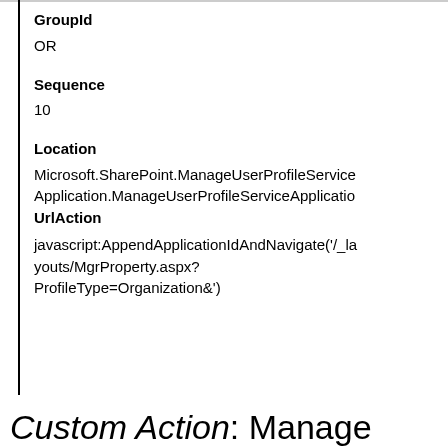GroupId
OR
Sequence
10
Location
Microsoft.SharePoint.ManageUserProfileServiceApplication.ManageUserProfileServiceApplicationUrlAction
javascript:AppendApplicationIdAndNavigate('/_layouts/MgrProperty.aspx?ProfileType=Organization&')
Custom Action: Manage